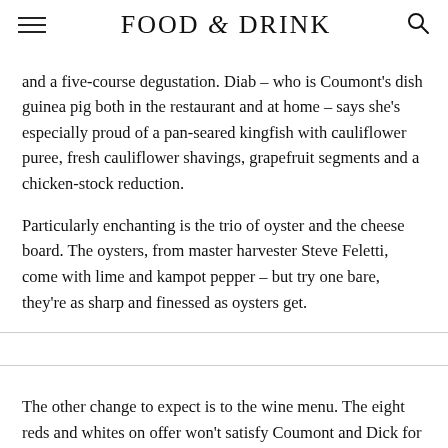FOOD & DRINK
and a five-course degustation. Diab – who is Coumont's dish guinea pig both in the restaurant and at home – says she's especially proud of a pan-seared kingfish with cauliflower puree, fresh cauliflower shavings, grapefruit segments and a chicken-stock reduction.
Particularly enchanting is the trio of oyster and the cheese board. The oysters, from master harvester Steve Feletti, come with lime and kampot pepper – but try one bare, they're as sharp and finessed as oysters get.
The other change to expect is to the wine menu. The eight reds and whites on offer won't satisfy Coumont and Dick for long; the two wine lovers want to build a long…